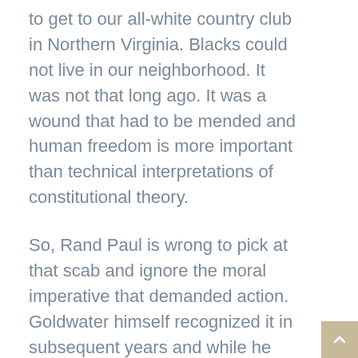to get to our all-white country club in Northern Virginia. Blacks could not live in our neighborhood. It was not that long ago. It was a wound that had to be mended and human freedom is more important than technical interpretations of constitutional theory.
So, Rand Paul is wrong to pick at that scab and ignore the moral imperative that demanded action. Goldwater himself recognized it in subsequent years and while he stuck true to the constitutional principle involved, acknowledged that the greater good demanded a less rigid view.
Rigidity, though, is the problem with